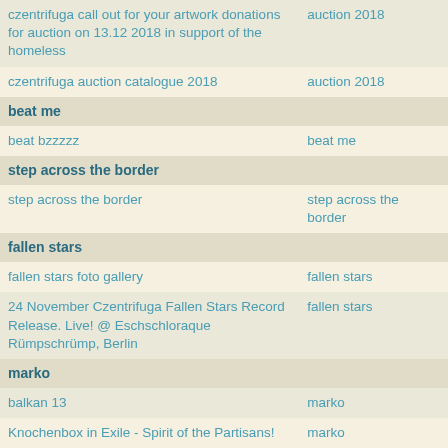| Title | Category |
| --- | --- |
| czentrifuga call out for your artwork donations for auction on 13.12 2018 in support of the homeless | auction 2018 |
| czentrifuga auction catalogue 2018 | auction 2018 |
| beat me |  |
| beat bzzzzz | beat me |
| step across the border |  |
| step across the border | step across the border |
| fallen stars |  |
| fallen stars foto gallery | fallen stars |
| 24 November Czentrifuga Fallen Stars Record Release. Live! @ Eschschloraque Rümpschrümp, Berlin | fallen stars |
| marko |  |
| balkan 13 | marko |
| Knochenbox in Exile - Spirit of the Partisans! | marko |